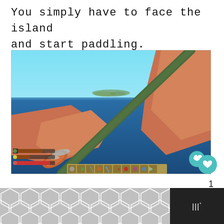You simply have to face the island and start paddling.
[Figure (screenshot): First-person view screenshot of a survival game (Stranded Deep) showing hands holding a paddle over ocean water, with a small island visible in the distance. HUD elements visible: health/food/water bars in lower left, item hotbar at the bottom center, and a heart/like button in the lower right corner of the image.]